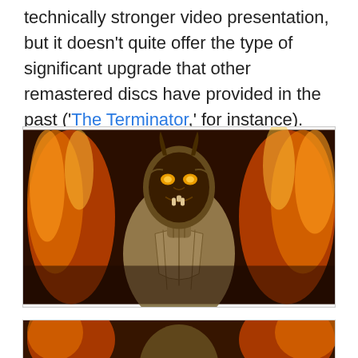technically stronger video presentation, but it doesn't quite offer the type of significant upgrade that other remastered discs have provided in the past ('The Terminator,' for instance).
[Figure (photo): A CGI or costumed villain character with a demonic mask/face surrounded by flames and fire, appearing menacing against a dark fiery background.]
[Figure (photo): Partial view of a similar fiery scene, cut off at the bottom of the page.]